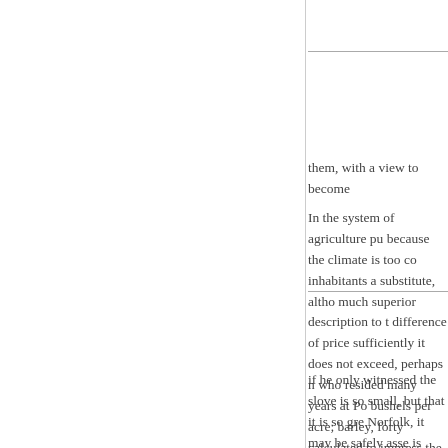them, with a view to become
In the system of agriculture pu because the climate is too co inhabitants a substitute, altho much superior description to t difference of price sufficiently it does not exceed, perhaps n who resided many years at P bushels per acre; barley, fort calculated to impress the Eng
if he only witnessed the slove is so small, but that it is so gr Norfolk, it may be safely asse is equally fertile; but the aver fifth less than at Port Dalrymp
These settlements do not con